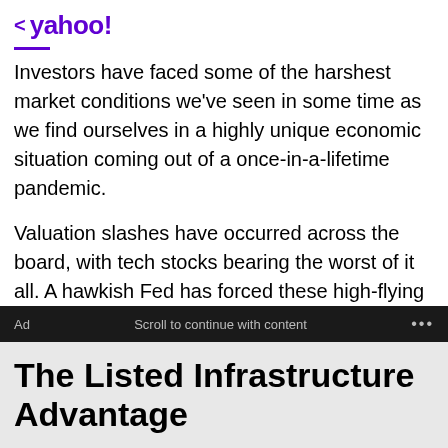< yahoo!
Investors have faced some of the harshest market conditions we've seen in some time as we find ourselves in a highly unique economic situation coming out of a once-in-a-lifetime pandemic.
Valuation slashes have occurred across the board, with tech stocks bearing the worst of it all. A hawkish Fed has forced these high-flying stocks to a screeching halt, putting dents in portfolios throughout the year.
Nonetheless, the market continues to roll on, and investors need to remain focused.
Ad   Scroll to continue with content   ...
The Listed Infrastructure Advantage